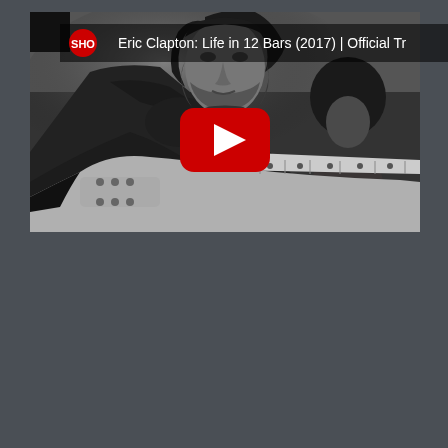[Figure (screenshot): YouTube video thumbnail for 'Eric Clapton: Life in 12 Bars (2017) | Official Tr...' showing a black and white photo of Eric Clapton playing electric guitar with a person visible in the background. A red YouTube play button is overlaid in the center. The Showtime (SHO) logo and video title appear at the top. The thumbnail is set against a dark gray background.]